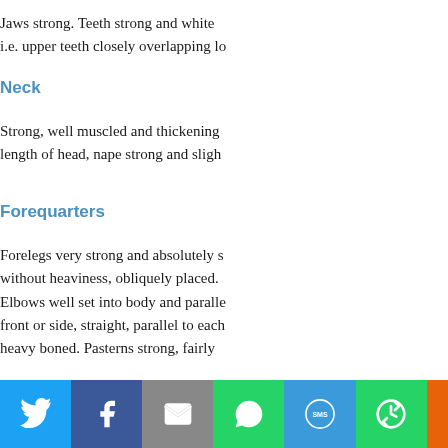Jaws strong. Teeth strong and white… i.e. upper teeth closely overlapping lo…
Neck
Strong, well muscled and thickening… length of head, nape strong and sligh…
Forequarters
Forelegs very strong and absolutely s… without heaviness, obliquely placed. Elbows well set into body and paralle… front or side, straight, parallel to each… heavy boned. Pasterns strong, fairly…
Body
Short, strong, deep, broad, compact…
Social share bar: Twitter, Facebook, Email, WhatsApp, SMS, More